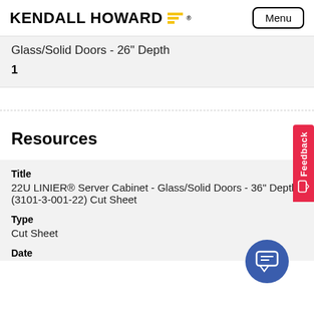KENDALL HOWARD | Menu
Glass/Solid Doors - 26" Depth
1
Resources
| Title | Type | Date |
| --- | --- | --- |
| 22U LINIER® Server Cabinet - Glass/Solid Doors - 36" Depth (3101-3-001-22) Cut Sheet | Cut Sheet |  |